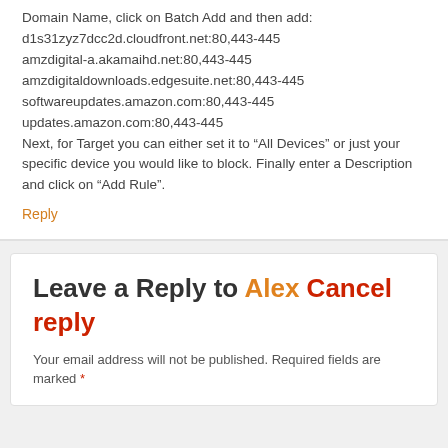Domain Name, click on Batch Add and then add:
d1s31zyz7dcc2d.cloudfront.net:80,443-445
amzdigital-a.akamaihd.net:80,443-445
amzdigitaldownloads.edgesuite.net:80,443-445
softwareupdates.amazon.com:80,443-445
updates.amazon.com:80,443-445
Next, for Target you can either set it to “All Devices” or just your specific device you would like to block. Finally enter a Description and click on “Add Rule”.
Reply
Leave a Reply to Alex Cancel reply
Your email address will not be published. Required fields are marked *